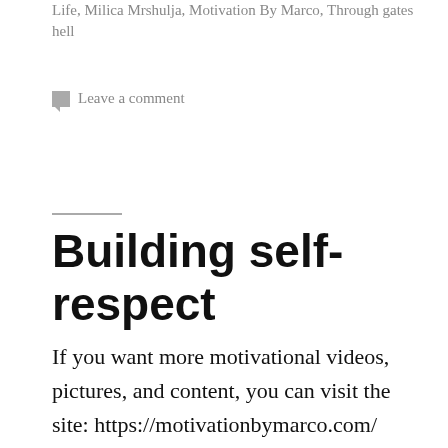Life, Milica Mrshulja, Motivation By Marco, Through gates hell
Leave a comment
Building self-respect
If you want more motivational videos, pictures, and content, you can visit the site: https://motivationbymarco.com/